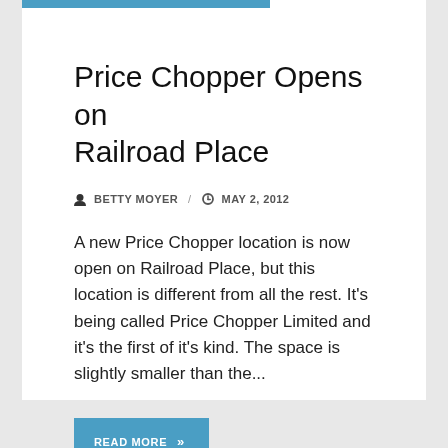Price Chopper Opens on Railroad Place
BETTY MOYER / MAY 2, 2012
A new Price Chopper location is now open on Railroad Place, but this location is different from all the rest. It's being called Price Chopper Limited and it's the first of it's kind. The space is slightly smaller than the...
READ MORE »